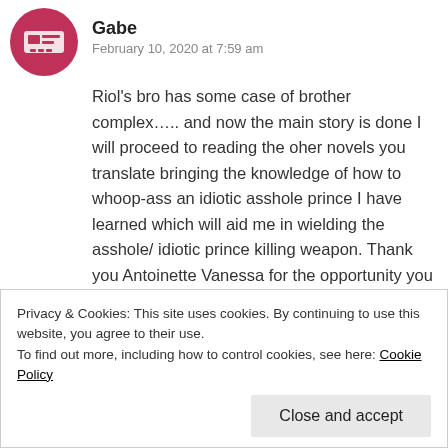Gabe
February 10, 2020 at 7:59 am
Riol's bro has some case of brother complex….. and now the main story is done I will proceed to reading the oher novels you translate bringing the knowledge of how to whoop-ass an idiotic asshole prince I have learned which will aid me in wielding the asshole/ idiotic prince killing weapon. Thank you Antoinette Vanessa for the opportunity you have given me to read this novel and gain my certificate to wield an asshole/ idiotic prince killing weapon…..
Poor Riol made up of 90% tsun and 10% dere, the
Privacy & Cookies: This site uses cookies. By continuing to use this website, you agree to their use.
To find out more, including how to control cookies, see here: Cookie Policy
Close and accept